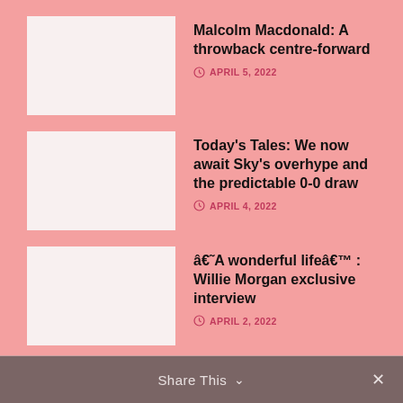Malcolm Macdonald: A throwback centre-forward — APRIL 5, 2022
Today's Tales: We now await Sky's overhype and the predictable 0-0 draw — APRIL 4, 2022
â€˜A wonderful lifeâ€™ : Willie Morgan exclusive interview — APRIL 2, 2022
Programme Review: Newhall United v Barlestone St Giles — MARCH 31, 2022
Share This ∨  ✕